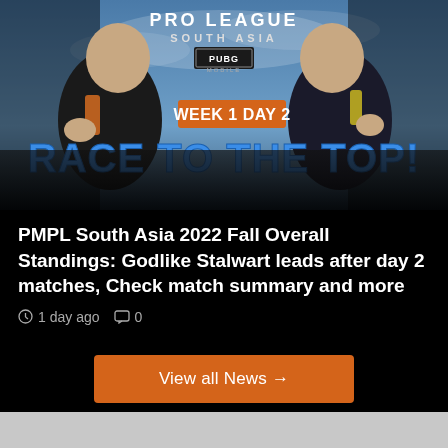[Figure (illustration): PUBG Mobile Pro League South Asia promotional banner showing two esports players in jerseys against a blue sky background. Text reads 'PRO LEAGUE SOUTH ASIA PUBG MOBILE', 'WEEK 1 DAY 2', and 'RACE TO THE TOP!' in large bold blue letters. The Week 1 Day 2 badge is on an orange background.]
PMPL South Asia 2022 Fall Overall Standings: Godlike Stalwart leads after day 2 matches, Check match summary and more
1 day ago  0
View all News →